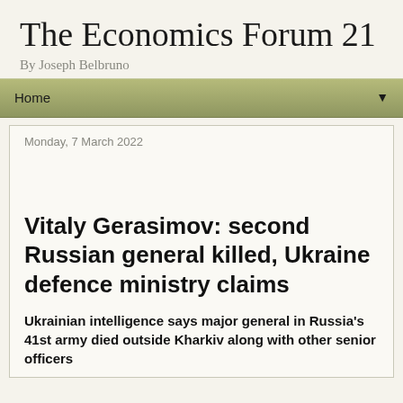The Economics Forum 21
By Joseph Belbruno
Home ▼
Monday, 7 March 2022
Vitaly Gerasimov: second Russian general killed, Ukraine defence ministry claims
Ukrainian intelligence says major general in Russia's 41st army died outside Kharkiv along with other senior officers